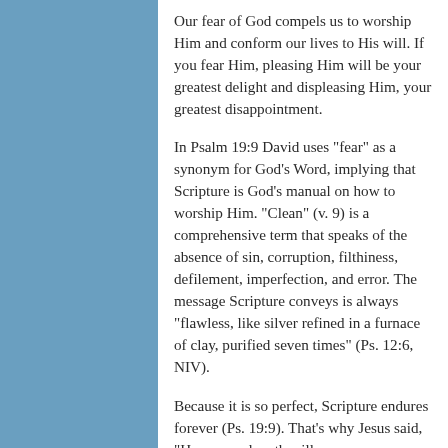Our fear of God compels us to worship Him and conform our lives to His will. If you fear Him, pleasing Him will be your greatest delight and displeasing Him, your greatest disappointment.
In Psalm 19:9 David uses "fear" as a synonym for God's Word, implying that Scripture is God's manual on how to worship Him. "Clean" (v. 9) is a comprehensive term that speaks of the absence of sin, corruption, filthiness, defilement, imperfection, and error. The message Scripture conveys is always "flawless, like silver refined in a furnace of clay, purified seven times" (Ps. 12:6, NIV).
Because it is so perfect, Scripture endures forever (Ps. 19:9). That's why Jesus said, "Heaven and earth will